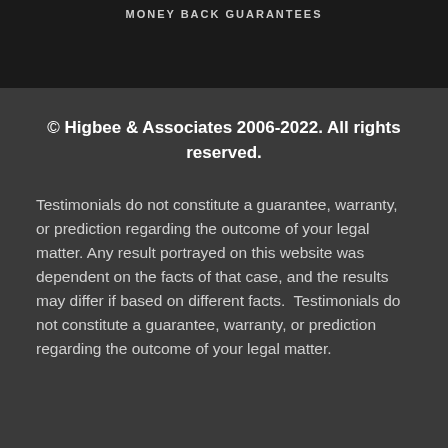MONEY BACK GUARANTEES
© Higbee & Associates 2006-2022. All rights reserved.
Testimonials do not constitute a guarantee, warranty, or prediction regarding the outcome of your legal matter. Any result portrayed on this website was dependent on the facts of that case, and the results may differ if based on different facts.  Testimonials do not constitute a guarantee, warranty, or prediction regarding the outcome of your legal matter.